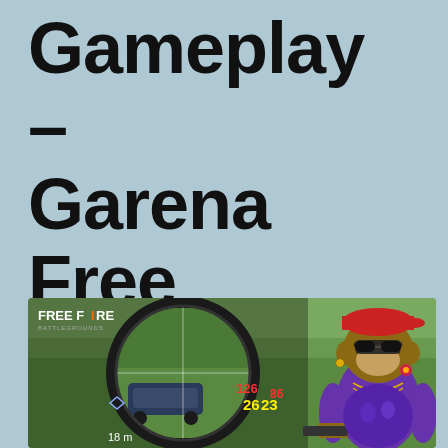Gameplay – Garena Free Fire- Total Gaming
[Figure (screenshot): Free Fire battle royale game screenshot showing a sniper scope view targeting a vehicle, with a monkey character wearing sunglasses, red cap, purple outfit and necklaces on the right side. The FREE FIRE BATTLEGROUNDS logo is visible top-left, along with HUD elements showing numbers 126, 26, 23 in red/yellow, and distance 18m.]